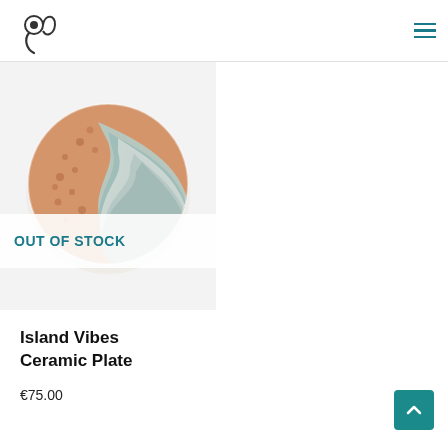@ Logo | hamburger menu
[Figure (photo): Ceramic plate with island vibes design — terracotta and teal swirling pattern, circular plate viewed from above, displayed on light grey background. An 'OUT OF STOCK' banner overlays the lower portion.]
Island Vibes Ceramic Plate
€75.00